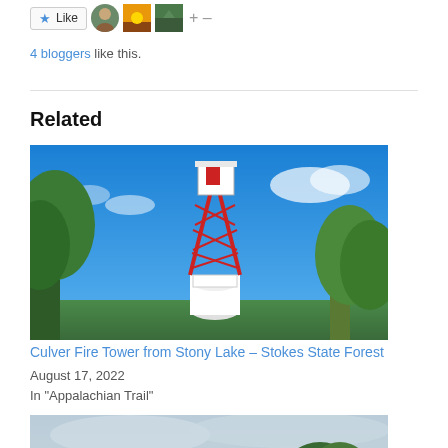[Figure (other): Like button with star icon, three user avatar thumbnails, and +/- controls]
4 bloggers like this.
Related
[Figure (photo): Photo of the Culver Fire Tower at Stokes State Forest, with a red metal lattice tower topped by a white cab, surrounded by green trees under a bright blue sky.]
Culver Fire Tower from Stony Lake – Stokes State Forest
August 17, 2022
In "Appalachian Trail"
[Figure (photo): Partial view of a second photo showing a scenic outdoor landscape with overcast sky and trees.]